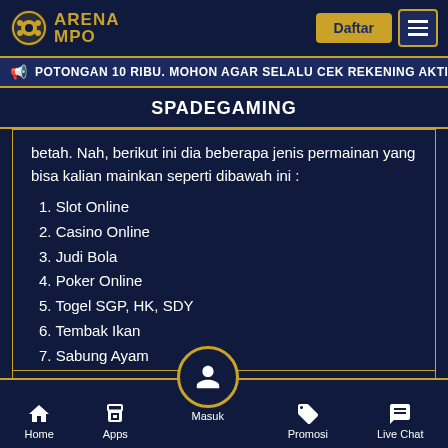ARENA MPO — Daftar
POTONGAN 10 RIBU. MOHON AGAR SELALU CEK REKENING AKTIF ATAU KO
SPADEGAMING
betah. Nah, berikut ini dia beberapa jenis permainan yang bisa kalian mainkan seperti dibawah ini :
1. Slot Online
2. Casino Online
3. Judi Bola
4. Poker Online
5. Togel SGP, HK, SDY
6. Tembak Ikan
7. Sabung Ayam
Namun kalian juga har... awah diantian
Home  Apps  Masuk  Promosi  Live Chat